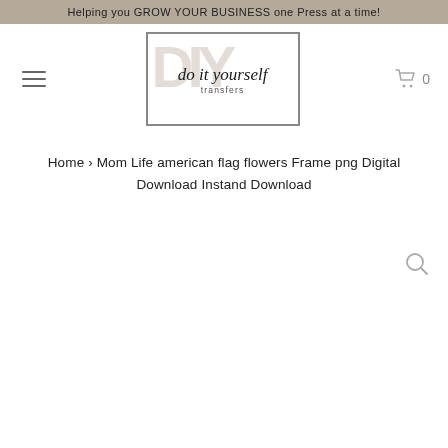Helping you GROW YOUR BUSINESS one Press at a time!
[Figure (logo): Do It Yourself Transfers logo with large DIY watermark letters and script text]
Home › Mom Life american flag flowers Frame png Digital Download Instand Download